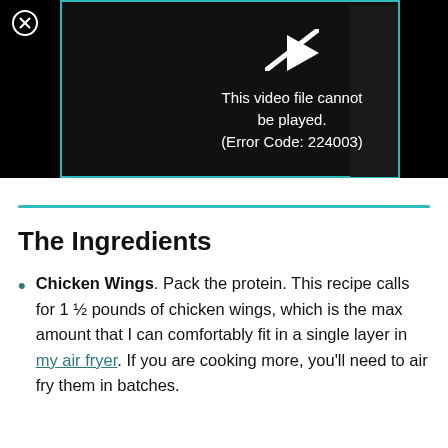[Figure (screenshot): Video player showing error message: 'This video file cannot be played. (Error Code: 224003)' on black background with teal border. A close button (X) is in the top-left corner.]
The Ingredients
Chicken Wings. Pack the protein. This recipe calls for 1 ½ pounds of chicken wings, which is the max amount that I can comfortably fit in a single layer in my air fryer. If you are cooking more, you'll need to air fry them in batches.